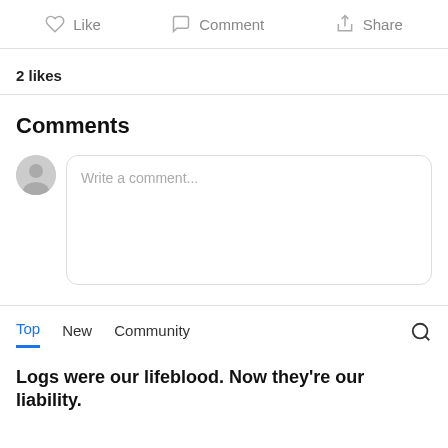Like   Comment   Share
2 likes
Comments
Write a comment...
Top   New   Community
Logs were our lifeblood. Now they're our liability.